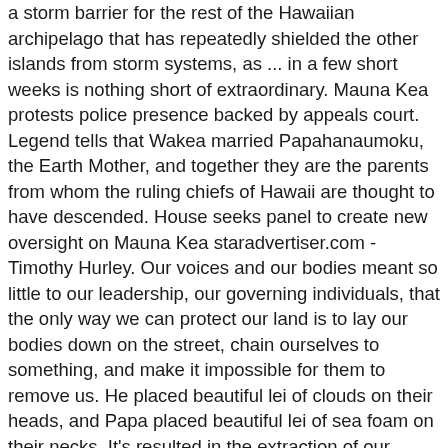a storm barrier for the rest of the Hawaiian archipelago that has repeatedly shielded the other islands from storm systems, as ... in a few short weeks is nothing short of extraordinary. Mauna Kea protests police presence backed by appeals court. Legend tells that Wakea married Papahanaumoku, the Earth Mother, and together they are the parents from whom the ruling chiefs of Hawaii are thought to have descended. House seeks panel to create new oversight on Mauna Kea staradvertiser.com - Timothy Hurley. Our voices and our bodies meant so little to our leadership, our governing individuals, that the only way we can protect our land is to lay our bodies down on the street, chain ourselves to something, and make it impossible for them to remove us. He placed beautiful lei of clouds on their heads, and Papa placed beautiful lei of sea foam on their necks. It's resulted in the extraction of our resources for the betterment of massive corporations at the detriment of living humans. When my kids and my grandkids talk about the things that my peers achieved and fought for, they were going to talk about Mauna Kea in the same way that